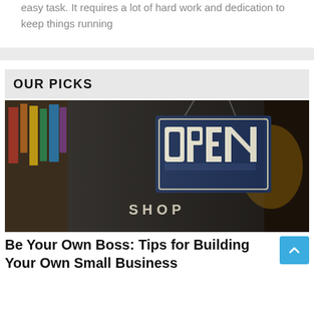easy task. It requires a lot of hard work and dedication to keep things running
OUR PICKS
[Figure (photo): Photo of a shop window with a blue and dark navy 'OPEN' sign hanging, with text 'SHOP' visible below it. Warm blurred interior background.]
Be Your Own Boss: Tips for Building Your Own Small Business